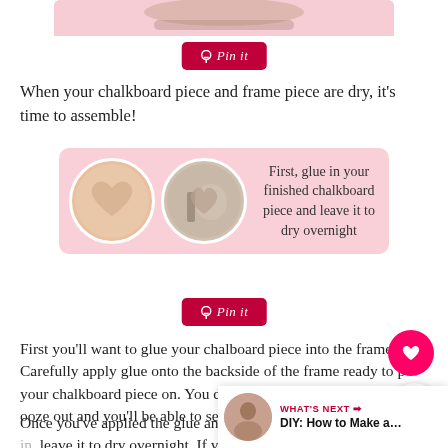[Figure (photo): Partial view of a decorated item on pink background, top cropped]
[Figure (illustration): Pink 'Pin it' button with Pinterest icon]
When your chalkboard piece and frame piece are dry, it's time to assemble!
[Figure (infographic): Pink rounded rectangle with two circular photos of heart-shaped chalkboard pieces, and text: First, glue in your finished chalkboard piece and leave it to dry overnight]
[Figure (illustration): Pink 'Pin it' button with Pinterest icon]
First you'll want to glue your chalboard piece into the frame. Carefully apply glue onto the backside of the frame ready to put your chalkboard piece on. You don't want to use too much as it'll ooze out and you'll be able to see it from the front so be careful!
Once you've applied the glue and popped your chalkboard piece in, leave it to dry overnight. If your chalkboard piece doesn't seem to be sitting flat, place a couple of books on top to hold it down whilst